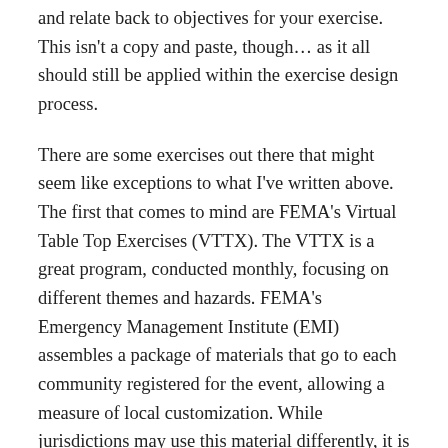and relate back to objectives for your exercise.  This isn't a copy and paste, though… as it all should still be applied within the exercise design process.
There are some exercises out there that might seem like exceptions to what I've written above.  The first that comes to mind are FEMA's Virtual Table Top Exercises (VTTX).  The VTTX is a great program, conducted monthly, focusing on different themes and hazards.  FEMA's Emergency Management Institute (EMI) assembles a package of materials that go to each community registered for the event, allowing a measure of local customization.  While jurisdictions may use this material differently, it is at least an opportunity to discuss relevant topics and hopefully capture some ideas for future implementation.
Similarly, my company, Emergency Preparedness